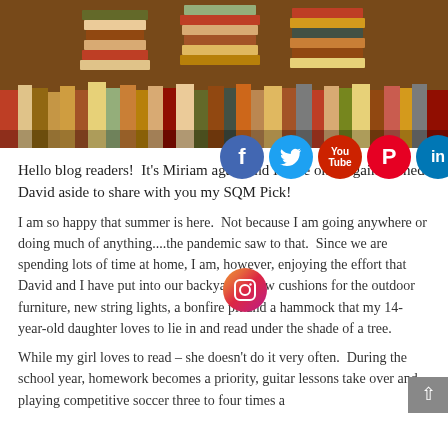[Figure (photo): Stacks of books on shelves in a library or bookstore, warm orange/golden tones]
[Figure (infographic): Social media share icons: Facebook, Twitter, YouTube, Pinterest, LinkedIn, Instagram]
Hello blog readers! It's Miriam again and I have once again pushed David aside to share with you my SQM Pick!
I am so happy that summer is here. Not because I am going anywhere or doing much of anything....the pandemic saw to that. Since we are spending lots of time at home, I am, however, enjoying the effort that David and I have put into our backyard – new cushions for the outdoor furniture, new string lights, a bonfire pit and a hammock that my 14-year-old daughter loves to lie in and read under the shade of a tree.
While my girl loves to read – she doesn't do it very often. During the school year, homework becomes a priority, guitar lessons take over and playing competitive soccer three to four times a